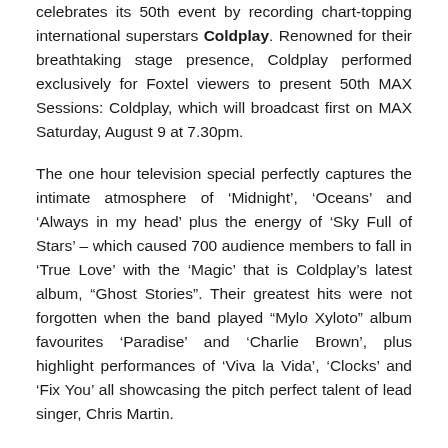celebrates its 50th event by recording chart-topping international superstars Coldplay. Renowned for their breathtaking stage presence, Coldplay performed exclusively for Foxtel viewers to present 50th MAX Sessions: Coldplay, which will broadcast first on MAX Saturday, August 9 at 7.30pm.
The one hour television special perfectly captures the intimate atmosphere of ‘Midnight’, ‘Oceans’ and ‘Always in my head’ plus the energy of ‘Sky Full of Stars’ – which caused 700 audience members to fall in ‘True Love’ with the ‘Magic’ that is Coldplay’s latest album, “Ghost Stories”. Their greatest hits were not forgotten when the band played “Mylo Xyloto” album favourites ‘Paradise’ and ‘Charlie Brown’, plus highlight performances of ‘Viva la Vida’, ‘Clocks’ and ‘Fix You’ all showcasing the pitch perfect talent of lead singer, Chris Martin.